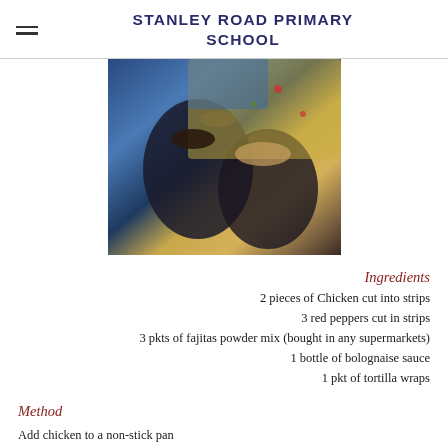STANLEY ROAD PRIMARY SCHOOL
[Figure (photo): Children working on a project at a table, viewed from above, with colourful materials spread out.]
Ingredients
2 pieces of Chicken cut into strips
3 red peppers cut in strips
3 pkts of fajitas powder mix (bought in any supermarkets)
1 bottle of bolognaise sauce
1 pkt of tortilla wraps
Method
Add chicken to a non-stick pan
Add fajita powder mix